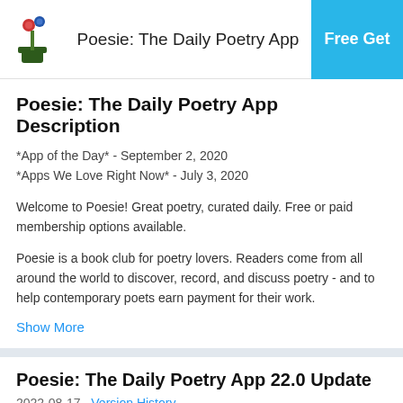Poesie: The Daily Poetry App | Free Get
Poesie: The Daily Poetry App Description
*App of the Day* - September 2, 2020
*Apps We Love Right Now* - July 3, 2020
Welcome to Poesie! Great poetry, curated daily. Free or paid membership options available.
Poesie is a book club for poetry lovers. Readers come from all around the world to discover, record, and discuss poetry - and to help contemporary poets earn payment for their work.
Show More
Poesie: The Daily Poetry App 22.0 Update
2022-08-17   Version History
Introducing: an annual poetry prize! This prize will be awarded by Poesie to